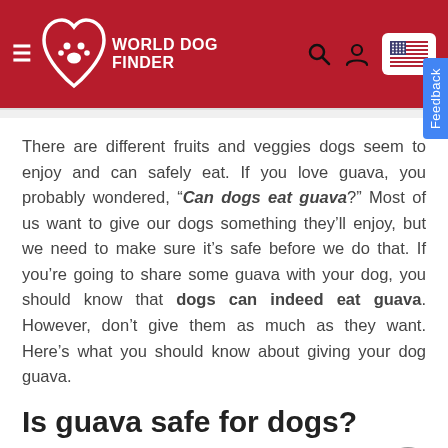World Dog Finder
There are different fruits and veggies dogs seem to enjoy and can safely eat. If you love guava, you probably wondered, “Can dogs eat guava?” Most of us want to give our dogs something they’ll enjoy, but we need to make sure it’s safe before we do that. If you’re going to share some guava with your dog, you should know that dogs can indeed eat guava. However, don’t give them as much as they want. Here’s what you should know about giving your dog guava.
Is guava safe for dogs?
The first question is the one regarding the fr...